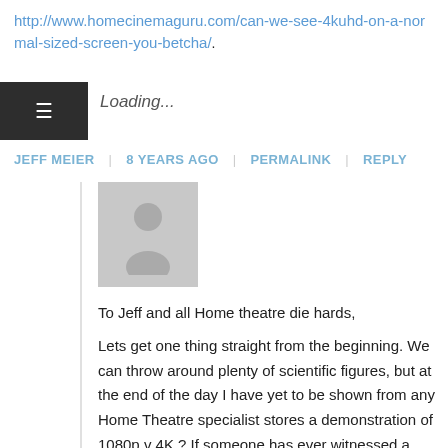http://www.homecinemaguru.com/can-we-see-4kuhd-on-a-normal-sized-screen-you-betcha/.
Loading...
JEFF MEIER | 8 YEARS AGO | PERMALINK | REPLY
[Figure (illustration): Default grey user avatar placeholder image]
To Jeff and all Home theatre die hards, Lets get one thing straight from the beginning. We can throw around plenty of scientific figures, but at the end of the day I have yet to be shown from any Home Theatre specialist stores a demonstration of 1080p v 4K ? If someone has ever witnessed a 1080p v 4k setup with a 1080p & 4K screens of the same size and make at the high end of the sale spectrum, with the same brand of cables and player to visualise with your own eyes plus